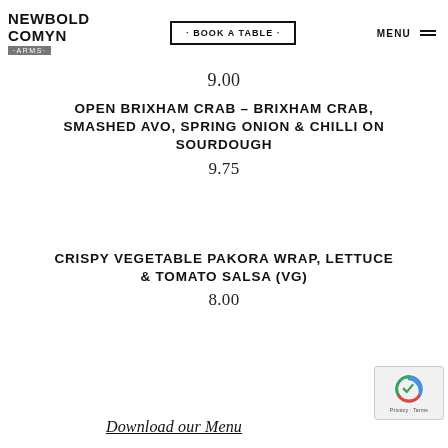NEWBOLD COMYN ARMS | · BOOK A TABLE · | MENU
9.00
OPEN BRIXHAM CRAB – BRIXHAM CRAB, SMASHED AVO, SPRING ONION & CHILLI ON SOURDOUGH
9.75
CRISPY VEGETABLE PAKORA WRAP, LETTUCE & TOMATO SALSA (VG)
8.00
Download our Menu